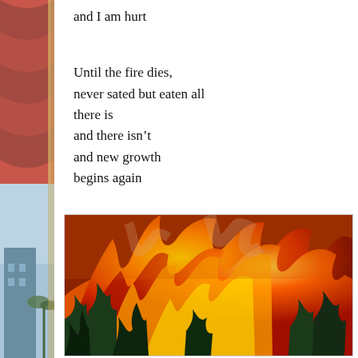and I am hurt
Until the fire dies,
never sated but eaten all
there is
and there isn't
and new growth
begins again
[Figure (photo): Photograph of a wildfire burning through trees, with intense orange and red flames consuming the forest, smoke rising, dark silhouetted trees in foreground]